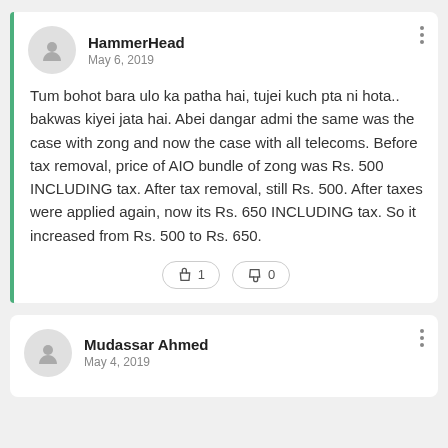HammerHead
May 6, 2019
Tum bohot bara ulo ka patha hai, tujei kuch pta ni hota.. bakwas kiyei jata hai. Abei dangar admi the same was the case with zong and now the case with all telecoms. Before tax removal, price of AIO bundle of zong was Rs. 500 INCLUDING tax. After tax removal, still Rs. 500. After taxes were applied again, now its Rs. 650 INCLUDING tax. So it increased from Rs. 500 to Rs. 650.
Mudassar Ahmed
May 4, 2019